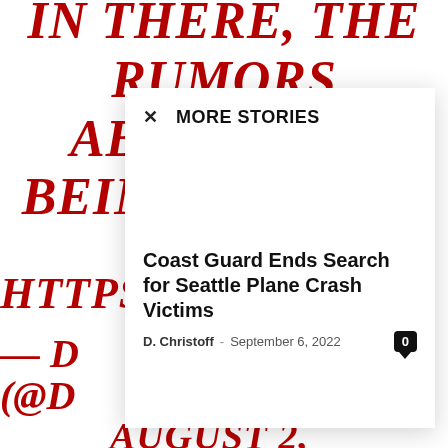IN THERE, THE RUMORS ABOUT HER BEING BESTIES WITH RE CA
HTTPS
— D (@D
AUGUST 2, 2020
[Figure (screenshot): Modal popup overlay with 'MORE STORIES' header and an article: 'Coast Guard Ends Search for Seattle Plane Crash Victims' by D. Christoff, September 6, 2022, with a comment count badge showing 0.]